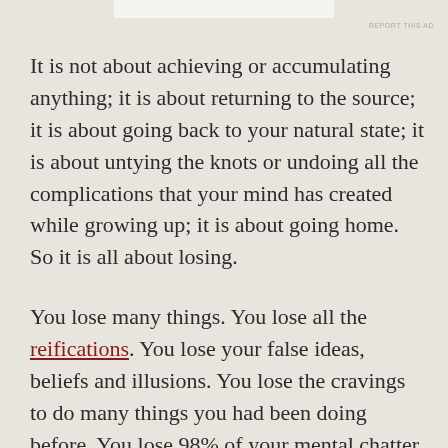It is not about achieving or accumulating anything; it is about returning to the source; it is about going back to your natural state; it is about untying the knots or undoing all the complications that your mind has created while growing up; it is about going home. So it is all about losing.
You lose many things. You lose all the reifications. You lose your false ideas, beliefs and illusions. You lose the cravings to do many things you had been doing before. You lose 98% of your mental chatter and lose all self-referential thoughts. You lose your conflicts